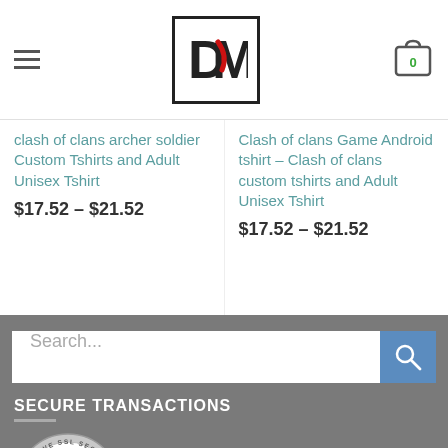[Figure (logo): DM logo with red swoosh in black bordered box]
clash of clans archer soldier Custom Tshirts and Adult Unisex Tshirt
$17.52 – $21.52
Clash of clans Game Android tshirt – Clash of clans custom tshirts and Adult Unisex Tshirt
$17.52 – $21.52
Search...
SECURE TRANSACTIONS
[Figure (logo): Positive SSL Secured Website badge by Comodo — circular silver badge with green plus icon and POSITIVE SSL text in blue]